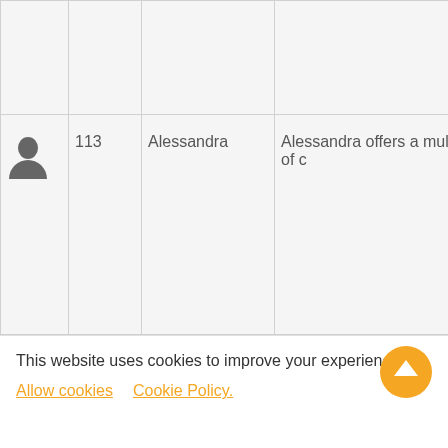|  |  |  |  |
| --- | --- | --- | --- |
|  |  |  |  |
| [user icon] | 113 | Alessandra | Alessandra offers a multitude of c... |
This website uses cookies to improve your experience
Allow cookies   Cookie Policy.